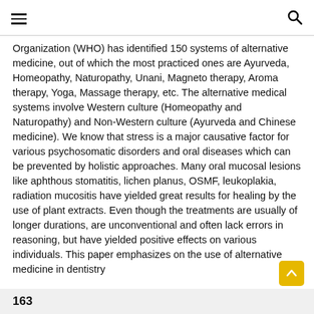≡  🔍
Organization (WHO) has identified 150 systems of alternative medicine, out of which the most practiced ones are Ayurveda, Homeopathy, Naturopathy, Unani, Magneto therapy, Aroma therapy, Yoga, Massage therapy, etc. The alternative medical systems involve Western culture (Homeopathy and Naturopathy) and Non-Western culture (Ayurveda and Chinese medicine). We know that stress is a major causative factor for various psychosomatic disorders and oral diseases which can be prevented by holistic approaches. Many oral mucosal lesions like aphthous stomatitis, lichen planus, OSMF, leukoplakia, radiation mucositis have yielded great results for healing by the use of plant extracts. Even though the treatments are usually of longer durations, are unconventional and often lack errors in reasoning, but have yielded positive effects on various individuals. This paper emphasizes on the use of alternative medicine in dentistry
163